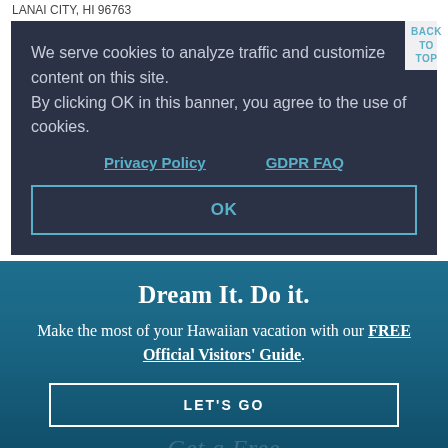LANAI CITY, HI 96763
We serve cookies to analyze traffic and customize content on this site.
By clicking OK in this banner, you agree to the use of cookies.
Privacy Policy    GDPR FAQ
OK
BACK
TO
TOP
Dream It. Do it.
Make the most of your Hawaiian vacation with our FREE Official Visitors' Guide.
LET'S GO